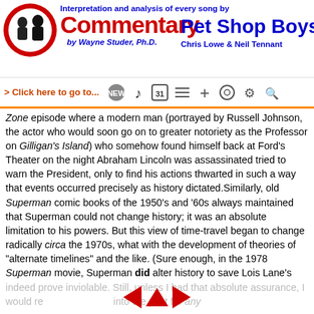Interpretation and analysis of every song by Pet Shop Boys – Commentary by Wayne Studer, Ph.D. – Chris Lowe & Neil Tennant
Zone episode where a modern man (portrayed by Russell Johnson, the actor who would soon go on to greater notoriety as the Professor on Gilligan's Island) who somehow found himself back at Ford's Theater on the night Abraham Lincoln was assassinated tried to warn the President, only to find his actions thwarted in such a way that events occurred precisely as history dictated.Similarly, old Superman comic books of the 1950's and '60s always maintained that Superman could not change history; it was an absolute limitation to his powers. But this view of time-travel began to change radically circa the 1970s, what with the development of theories of "alternate timelines" and the like. (Sure enough, in the 1978 Superman movie, Superman did alter history to save Lois Lane's life.) Hence, nowadays it's no no longer "standard belief" that history could not be changed even time-travel were possible. That being said, I personally believe that if time-travel into the past ever were possible in real life—which I very, very seriously doubt, although I'm far more open to the possibility of traveling into the future (since, in a way, that's precisely what ever day of our lives is)—history would
indeed prove inviolable. Still, unless I had that absolute assurance, I would refuse to go back into the past for any